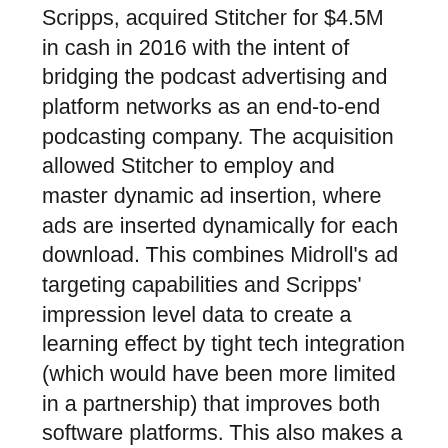Scripps, acquired Stitcher for $4.5M in cash in 2016 with the intent of bridging the podcast advertising and platform networks as an end-to-end podcasting company. The acquisition allowed Stitcher to employ and master dynamic ad insertion, where ads are inserted dynamically for each download. This combines Midroll's ad targeting capabilities and Scripps' impression level data to create a learning effect by tight tech integration (which would have been more limited in a partnership) that improves both software platforms. This also makes a very compelling value proposition for brand and direct response clients that want to reach and educated and affluent audience as well as diversify ad spend beyond Google and Facebook. The acquisition also allows Midroll and Stitcher to create a more effective walled garden and a better negotiating position versus its publishers and host partners. Stitcher is